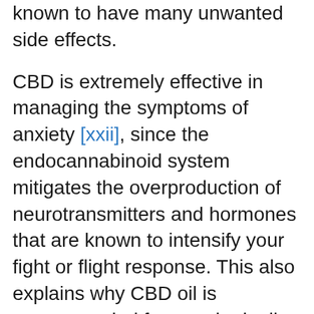known to have many unwanted side effects.
CBD is extremely effective in managing the symptoms of anxiety [xxii], since the endocannabinoid system mitigates the overproduction of neurotransmitters and hormones that are known to intensify your fight or flight response. This also explains why CBD oil is recommended for people dealing with a high stress burden as it effectively helps modulate activity of the stress hormone cortisol.
It is imperative that you also take necessary steps while using CBD oil to forge an environment that is conducive to balance. This might include avoiding the use of common stimulants such as coffee, getting